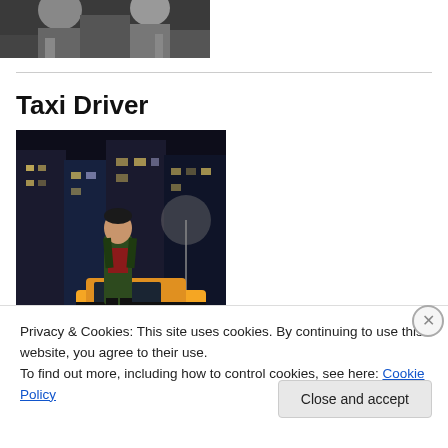[Figure (photo): Black and white photo of people, partially cropped at top of page]
Taxi Driver
[Figure (photo): Color movie still from Taxi Driver showing a man in a leather jacket standing in front of a yellow taxi cab on a city street at night]
Privacy & Cookies: This site uses cookies. By continuing to use this website, you agree to their use.
To find out more, including how to control cookies, see here: Cookie Policy
Close and accept